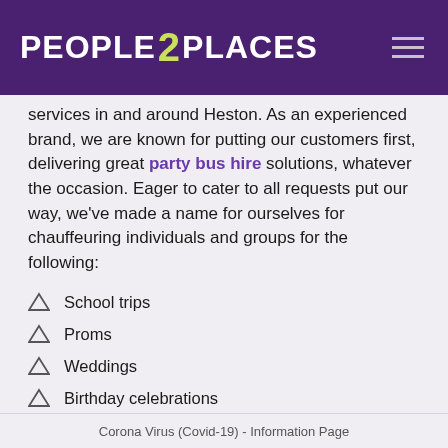PEOPLE 2 PLACES
services in and around Heston. As an experienced brand, we are known for putting our customers first, delivering great party bus hire solutions, whatever the occasion. Eager to cater to all requests put our way, we've made a name for ourselves for chauffeuring individuals and groups for the following:
School trips
Proms
Weddings
Birthday celebrations
Business trips
Sporting events
Festivals
Corona Virus (Covid-19) - Information Page